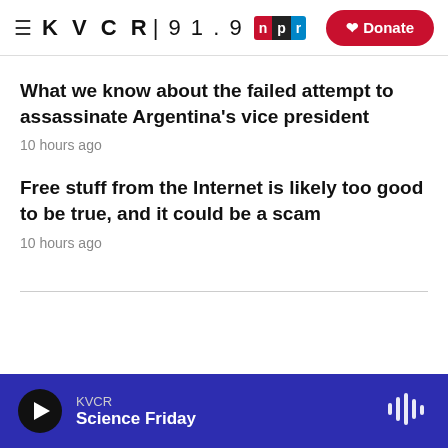KVCR 91.9 NPR | Donate
What we know about the failed attempt to assassinate Argentina's vice president
10 hours ago
Free stuff from the Internet is likely too good to be true, and it could be a scam
10 hours ago
KVCR Science Friday